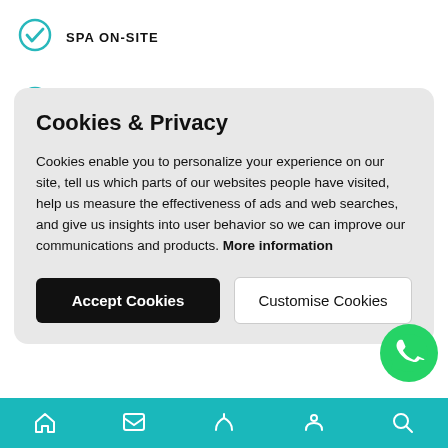SPA ON-SITE
GYM ON-SITE
Cookies & Privacy
Cookies enable you to personalize your experience on our site, tell us which parts of our websites people have visited, help us measure the effectiveness of ads and web searches, and give us insights into user behavior so we can improve our communications and products. More information
Accept Cookies
Customise Cookies